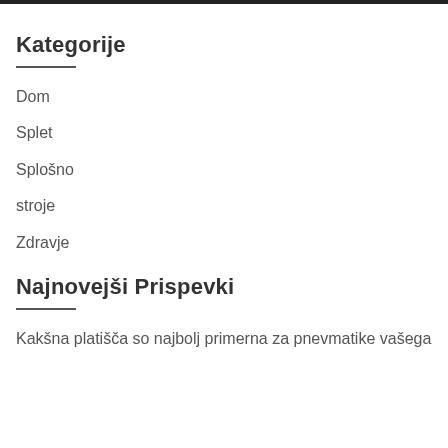Kategorije
Dom
Splet
Splošno
stroje
Zdravje
Najnovejši Prispevki
Kakšna platišča so najbolj primerna za pnevmatike vašega